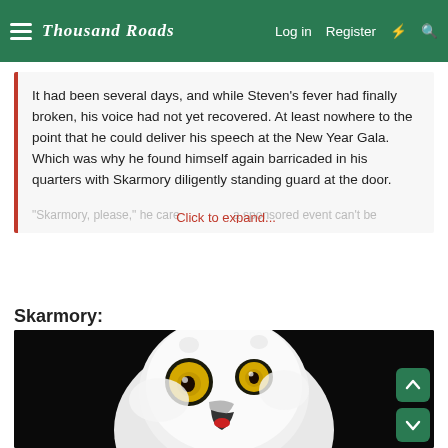Thousand Roads — Log in | Register
It had been several days, and while Steven's fever had finally broken, his voice had not yet recovered. At least nowhere to the point that he could deliver his speech at the New Year Gala. Which was why he found himself again barricaded in his quarters with Skarmory diligently standing guard at the door.
Click to expand...
Skarmory:
[Figure (photo): Close-up photo of a white snowy owl with wide yellow eyes and open beak, against a dark background.]